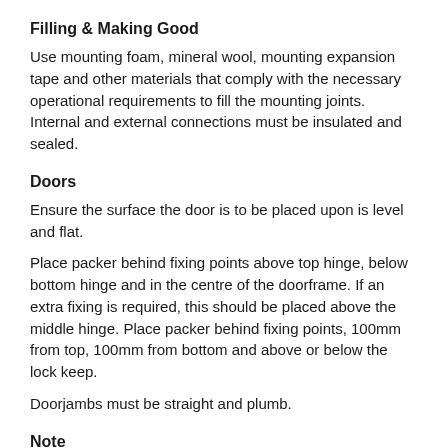Filling & Making Good
Use mounting foam, mineral wool, mounting expansion tape and other materials that comply with the necessary operational requirements to fill the mounting joints. Internal and external connections must be insulated and sealed.
Doors
Ensure the surface the door is to be placed upon is level and flat.
Place packer behind fixing points above top hinge, below bottom hinge and in the centre of the doorframe. If an extra fixing is required, this should be placed above the middle hinge. Place packer behind fixing points, 100mm from top, 100mm from bottom and above or below the lock keep.
Doorjambs must be straight and plumb.
Note